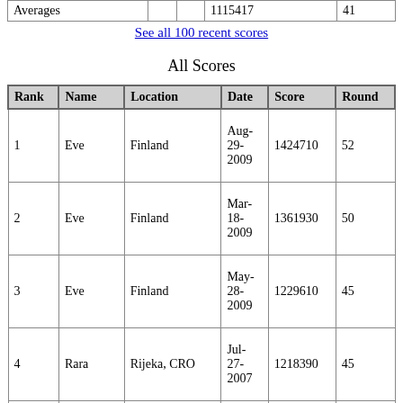|  |  |  |  |  |
| --- | --- | --- | --- | --- |
| Averages |  |  | 1115417 | 41 |
See all 100 recent scores
All Scores
| Rank | Name | Location | Date | Score | Round |
| --- | --- | --- | --- | --- | --- |
| 1 | Eve | Finland | Aug-29-2009 | 1424710 | 52 |
| 2 | Eve | Finland | Mar-18-2009 | 1361930 | 50 |
| 3 | Eve | Finland | May-28-2009 | 1229610 | 45 |
| 4 | Rara | Rijeka, CRO | Jul-27-2007 | 1218390 | 45 |
| 5 | Gregg Seelhoff | East Lansing, Michigan | Jun-18- | 1194600 | 44 |